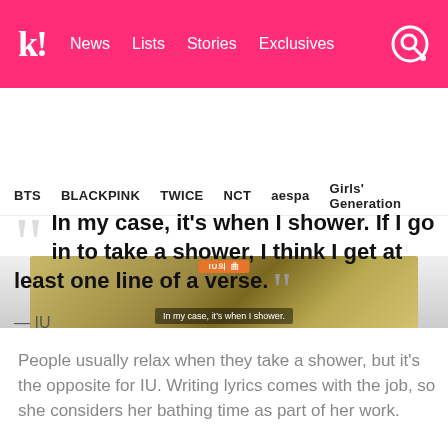k! News Lists Stories Exclusives
BTS BLACKPINK TWICE NCT aespa Girls' Generation
[Figure (photo): Partial image of IU with overlay text 'In my case, it's when I shower.']
In my case, it's when I shower. If I go in to take a shower, I think I get at least one line of a verse.
— IU
People usually relax when they take a shower, but it's the opposite for IU. Writing lyrics comes with the job, so she considers her bathing time as part of her work.